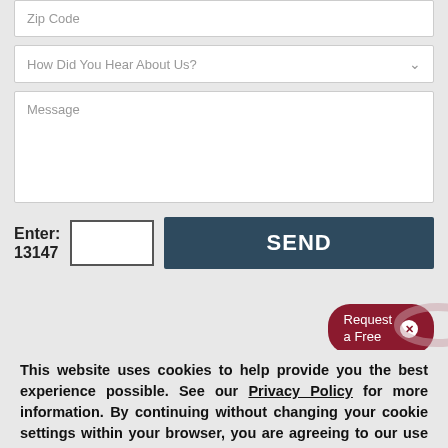[Figure (screenshot): Web form with Zip Code input field, How Did You Hear About Us dropdown, Message textarea, CAPTCHA entry with label 'Enter: 13147', and a SEND button. A 'Request a Free' popup overlay is partially visible. A cookie consent banner with Privacy Policy link and ACCEPT button overlays the bottom portion.]